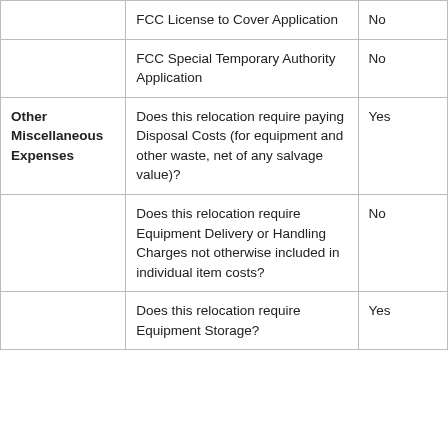| Category | Question | Answer |
| --- | --- | --- |
|  | FCC License to Cover Application | No |
|  | FCC Special Temporary Authority Application | No |
| Other Miscellaneous Expenses | Does this relocation require paying Disposal Costs (for equipment and other waste, net of any salvage value)? | Yes |
|  | Does this relocation require Equipment Delivery or Handling Charges not otherwise included in individual item costs? | No |
|  | Does this relocation require Equipment Storage? | Yes |